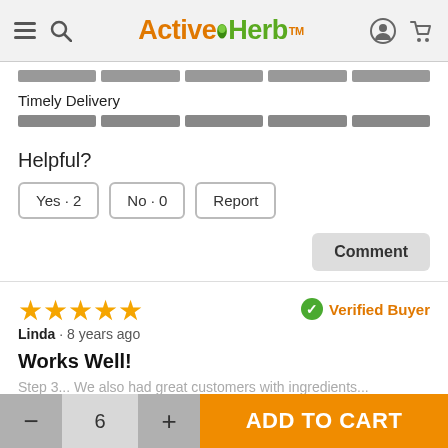ActiveHerb
[Figure (other): Rating bar for a previous category (partially visible)]
Timely Delivery
[Figure (other): Timely Delivery rating bar with 5 segments in gray]
Helpful?
Yes · 2
No · 0
Report
Comment
[Figure (other): 5 orange stars rating]
Verified Buyer
Linda · 8 years ago
Works Well!
Partially visible review text
- 6 + ADD TO CART